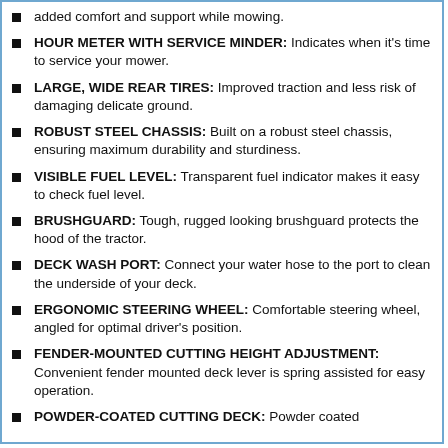added comfort and support while mowing.
HOUR METER WITH SERVICE MINDER: Indicates when it's time to service your mower.
LARGE, WIDE REAR TIRES: Improved traction and less risk of damaging delicate ground.
ROBUST STEEL CHASSIS: Built on a robust steel chassis, ensuring maximum durability and sturdiness.
VISIBLE FUEL LEVEL: Transparent fuel indicator makes it easy to check fuel level.
BRUSHGUARD: Tough, rugged looking brushguard protects the hood of the tractor.
DECK WASH PORT: Connect your water hose to the port to clean the underside of your deck.
ERGONOMIC STEERING WHEEL: Comfortable steering wheel, angled for optimal driver's position.
FENDER-MOUNTED CUTTING HEIGHT ADJUSTMENT: Convenient fender mounted deck lever is spring assisted for easy operation.
POWDER-COATED CUTTING DECK: Powder coated...